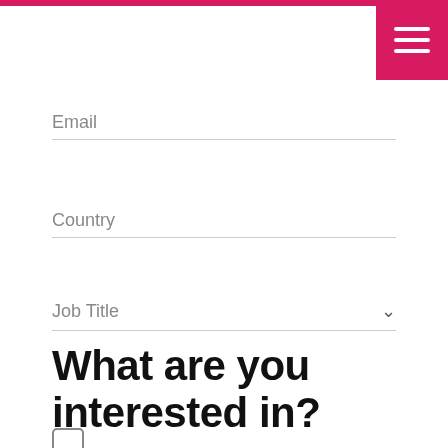[Figure (screenshot): Red navigation menu button with three white horizontal lines (hamburger icon) in top-right corner]
Email
Country
Job Title
What are you interested in?